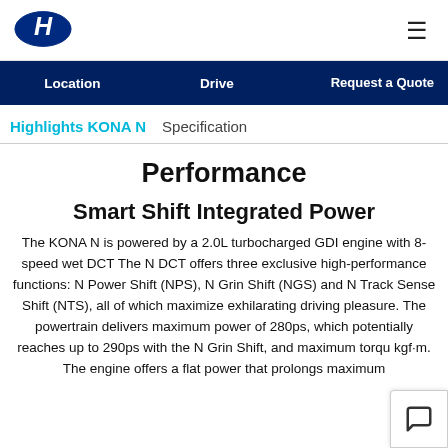Hyundai logo and hamburger menu
Location | Drive | Request a Quote
Highlights KONA N | Specification
Performance
Smart Shift Integrated Power
The KONA N is powered by a 2.0L turbocharged GDI engine with 8-speed wet DCT The N DCT offers three exclusive high-performance functions: N Power Shift (NPS), N Grin Shift (NGS) and N Track Sense Shift (NTS), all of which maximize exhilarating driving pleasure. The powertrain delivers maximum power of 280ps, which potentially reaches up to 290ps with the N Grin Shift, and maximum torqu kgf·m. The engine offers a flat power that prolongs maximum